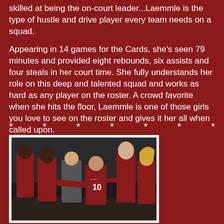skilled at being the on-court leader...Laemmle is the type of hustle and drive player every team needs on a squad.
Appearing in 14 games for the Cards, she's seen 79 minutes and provided eight rebounds, six assists and four steals in her court time. She fully understands her role on this deep and talented squad and works as hard as any player on the roster. A crowd favorite when she hits the floor, Laemmle is one of those girls you love to see on the roster and gives it her all when called upon.
* * * * * * *
[Figure (photo): Basketball team huddle with coach and players in red Louisville uniforms including player number 10]